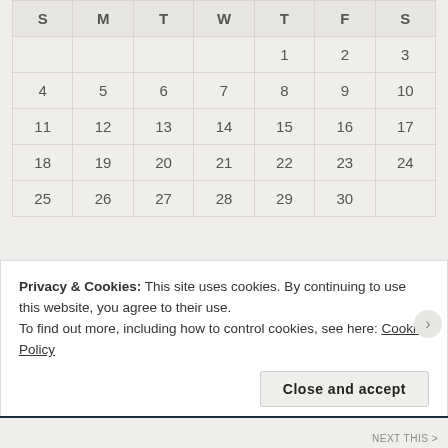| S | M | T | W | T | F | S |
| --- | --- | --- | --- | --- | --- | --- |
|  |  |  |  | 1 | 2 | 3 |
| 4 | 5 | 6 | 7 | 8 | 9 | 10 |
| 11 | 12 | 13 | 14 | 15 | 16 | 17 |
| 18 | 19 | 20 | 21 | 22 | 23 | 24 |
| 25 | 26 | 27 | 28 | 29 | 30 |  |
« Aug
© Rachel Hiles and Into Deep Light, 2015-2022. Unauthorized use and/or duplication of this material without
Privacy & Cookies: This site uses cookies. By continuing to use this website, you agree to their use.
To find out more, including how to control cookies, see here: Cookie Policy
Close and accept